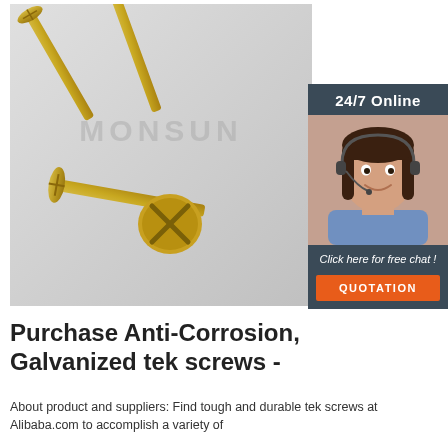[Figure (photo): Photo of several gold/yellow zinc-plated galvanized countersunk head Phillips screws (tek screws) arranged on a light grey background, with a MONSUN watermark overlay in grey text. An overlapping sidebar shows a customer service representative with headset, '24/7 Online' header, 'Click here for free chat!' text, and an orange QUOTATION button, on a dark navy/grey background.]
Purchase Anti-Corrosion, Galvanized tek screws -
About product and suppliers: Find tough and durable tek screws at Alibaba.com to accomplish a variety of